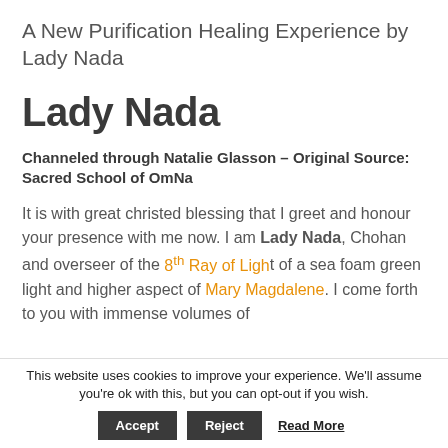A New Purification Healing Experience by Lady Nada
Lady Nada
Channeled through Natalie Glasson – Original Source: Sacred School of OmNa
It is with great christed blessing that I greet and honour your presence with me now. I am Lady Nada, Chohan and overseer of the 8th Ray of Light of a sea foam green light and higher aspect of Mary Magdalene. I come forth to you with immense volumes of
This website uses cookies to improve your experience. We'll assume you're ok with this, but you can opt-out if you wish. Accept Reject Read More